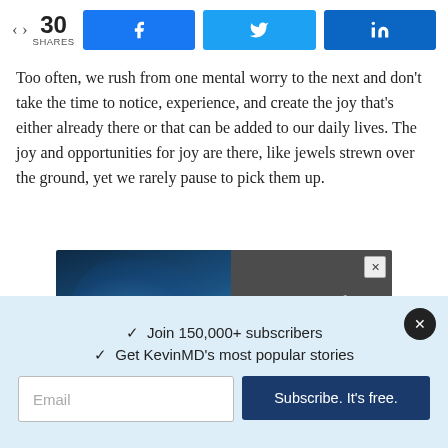[Figure (screenshot): Social share bar with 30 shares count and Facebook, Twitter, LinkedIn share buttons]
Too often, we rush from one mental worry to the next and don't take the time to notice, experience, and create the joy that's either already there or that can be added to our daily lives. The joy and opportunities for joy are there, like jewels strewn over the ground, yet we rarely pause to pick them up.
[Figure (screenshot): MedPage Today Healthcare Careers advertisement showing an X-ray image with text 'Find a New Provider']
✓  Join 150,000+ subscribers
✓  Get KevinMD's most popular stories
Email input field and Subscribe. It's free. button